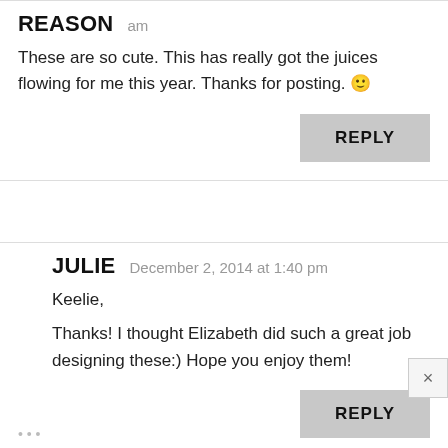REASON
am
These are so cute. This has really got the juices flowing for me this year. Thanks for posting. 🙂
REPLY
JULIE
December 2, 2014 at 1:40 pm
Keelie,
Thanks! I thought Elizabeth did such a great job designing these:) Hope you enjoy them!
REPLY